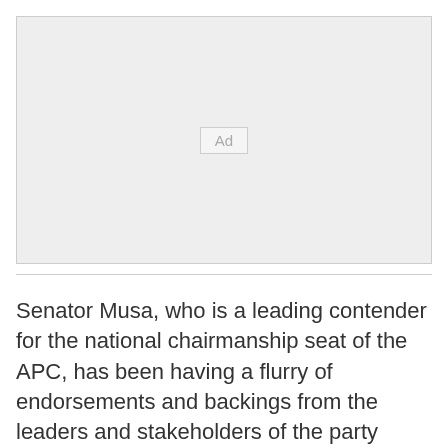[Figure (other): Advertisement placeholder box with 'Ad' label centered]
Senator Musa, who is a leading contender for the national chairmanship seat of the APC, has been having a flurry of endorsements and backings from the leaders and stakeholders of the party since he declared his ambition for the position. Over the weekend, the National